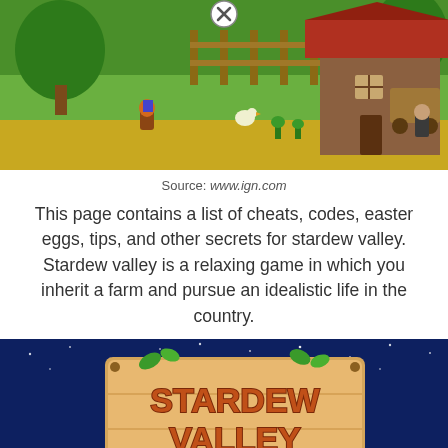[Figure (screenshot): Stardew Valley game screenshot showing farm scene with character on horse, wooden building, fence, trees, and another character. Close button (X) visible at top center.]
Source: www.ign.com
This page contains a list of cheats, codes, easter eggs, tips, and other secrets for stardew valley. Stardew valley is a relaxing game in which you inherit a farm and pursue an idealistic life in the country.
[Figure (screenshot): Stardew Valley title screen showing 'STARDEW VALLEY' logo on wooden sign with green leaves, against night sky background. Close button (X) and up arrow navigation button visible. Bottom text partially showing 'INFINITE MONEY'.]